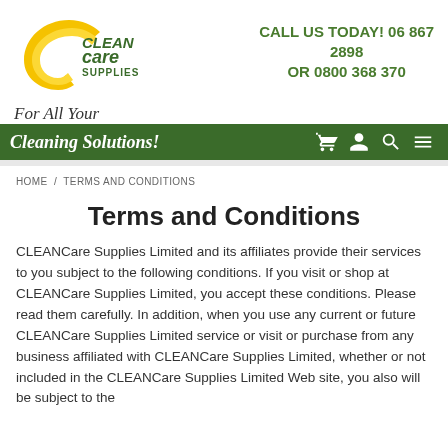[Figure (logo): CLEANcare Supplies logo with yellow/gold crescent C shape and green text]
CALL US TODAY! 06 867 2898
OR 0800 368 370
For All Your
Cleaning Solutions!
HOME / TERMS AND CONDITIONS
Terms and Conditions
CLEANCare Supplies Limited and its affiliates provide their services to you subject to the following conditions. If you visit or shop at CLEANCare Supplies Limited, you accept these conditions. Please read them carefully. In addition, when you use any current or future CLEANCare Supplies Limited service or visit or purchase from any business affiliated with CLEANCare Supplies Limited, whether or not included in the CLEANCare Supplies Limited Web site, you also will be subject to the